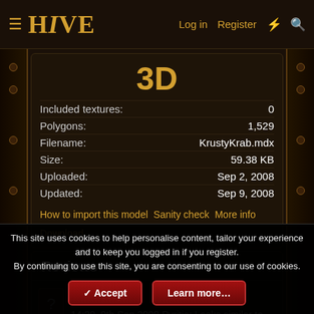HIVE — Log in | Register
3D
| Property | Value |
| --- | --- |
| Included textures: | 0 |
| Polygons: | 1,529 |
| Filename: | KrustyKrab.mdx |
| Size: | 59.38 KB |
| Uploaded: | Sep 2, 2008 |
| Updated: | Sep 9, 2008 |
How to import this model | Sanity check | More info | Download
Reviews
14:39, 9th Sep 2008 Pyritie: Looks similar to the actual Krusty Krab and works ingame and stuff. So
This site uses cookies to help personalise content, tailor your experience and to keep you logged in if you register.
By continuing to use this site, you are consenting to our use of cookies.